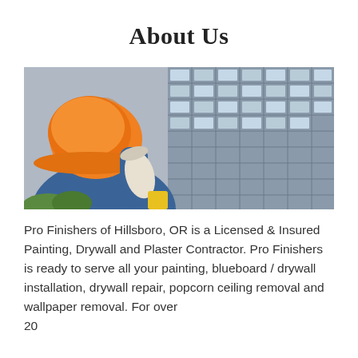About Us
[Figure (photo): A construction worker holding an orange hard hat and rolled blueprints, with a building structure in the background.]
Pro Finishers of Hillsboro, OR is a Licensed & Insured Painting, Drywall and Plaster Contractor. Pro Finishers is ready to serve all your painting, blueboard / drywall installation, drywall repair, popcorn ceiling removal and wallpaper removal. For over 20...